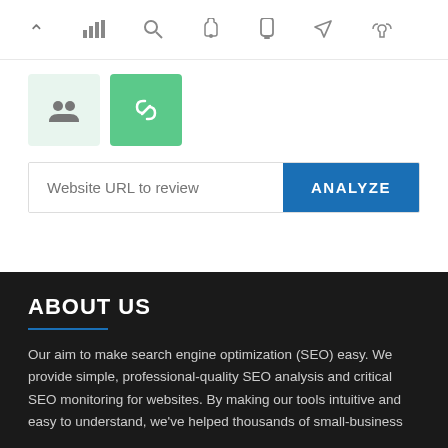[Figure (screenshot): Navigation icon bar with chevron-up, bar-chart, search, pointer, mobile, send/rocket, and thumbs-up icons]
[Figure (screenshot): Two tab icon boxes: light green box with people/users icon, and solid green box with link/chain icon]
Website URL to review
ANALYZE
ABOUT US
Our aim to make search engine optimization (SEO) easy. We provide simple, professional-quality SEO analysis and critical SEO monitoring for websites. By making our tools intuitive and easy to understand, we've helped thousands of small-business